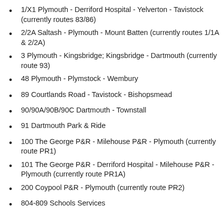1/X1 Plymouth - Derriford Hospital - Yelverton - Tavistock (currently routes 83/86)
2/2A Saltash - Plymouth - Mount Batten (currently routes 1/1A & 2/2A)
3 Plymouth - Kingsbridge; Kingsbridge - Dartmouth (currently route 93)
48 Plymouth - Plymstock - Wembury
89 Courtlands Road - Tavistock - Bishopsmead
90/90A/90B/90C Dartmouth - Townstall
91 Dartmouth Park & Ride
100 The George P&R - Milehouse P&R - Plymouth (currently route PR1)
101 The George P&R - Derriford Hospital - Milehouse P&R - Plymouth (currently route PR1A)
200 Coypool P&R - Plymouth (currently route PR2)
804-809 Schools Services